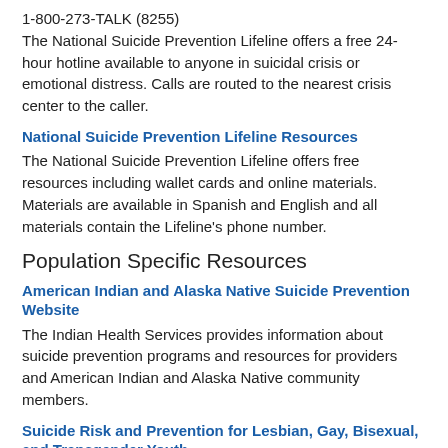1-800-273-TALK (8255)
The National Suicide Prevention Lifeline offers a free 24-hour hotline available to anyone in suicidal crisis or emotional distress. Calls are routed to the nearest crisis center to the caller.
National Suicide Prevention Lifeline Resources
The National Suicide Prevention Lifeline offers free resources including wallet cards and online materials. Materials are available in Spanish and English and all materials contain the Lifeline's phone number.
Population Specific Resources
American Indian and Alaska Native Suicide Prevention Website
The Indian Health Services provides information about suicide prevention programs and resources for providers and American Indian and Alaska Native community members.
Suicide Risk and Prevention for Lesbian, Gay, Bisexual, and Transgender Youth
This publication addresses the special concerns related to